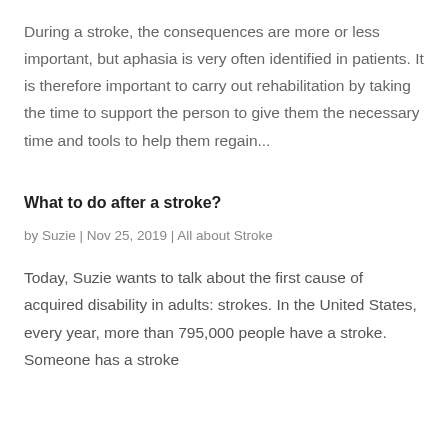During a stroke, the consequences are more or less important, but aphasia is very often identified in patients. It is therefore important to carry out rehabilitation by taking the time to support the person to give them the necessary time and tools to help them regain...
What to do after a stroke?
by Suzie | Nov 25, 2019 | All about Stroke
Today, Suzie wants to talk about the first cause of acquired disability in adults: strokes. In the United States, every year, more than 795,000 people have a stroke. Someone has a stroke